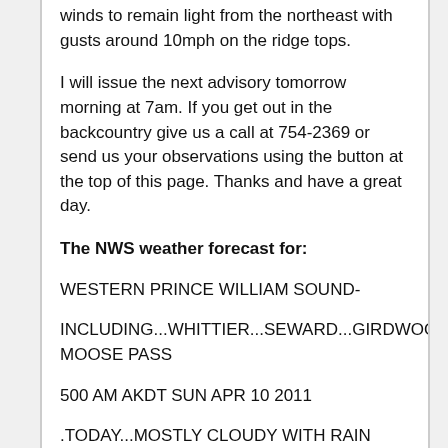winds to remain light from the northeast with gusts around 10mph on the ridge tops.
I will issue the next advisory tomorrow morning at 7am. If you get out in the backcountry give us a call at 754-2369 or send us your observations using the button at the top of this page. Thanks and have a great day.
The NWS weather forecast for:
WESTERN PRINCE WILLIAM SOUND-
INCLUDING...WHITTIER...SEWARD...GIRDWOOD...MOOSE PASS
500 AM AKDT SUN APR 10 2011
.TODAY...MOSTLY CLOUDY WITH RAIN SHOWERS...MIXING WITH SNOW IN THE
MORNING. HIGHS IN THE LOWER 40S TO LOWER 50S. LIGHT WINDS